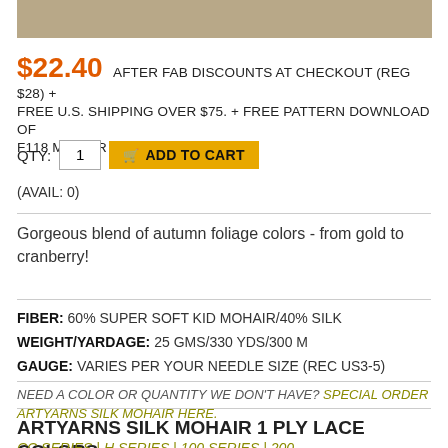[Figure (photo): Bottom portion of a yarn product photo showing warm autumn-colored mohair yarn]
$22.40 AFTER FAB DISCOUNTS AT CHECKOUT (REG $28) + FREE U.S. SHIPPING OVER $75. + FREE PATTERN DOWNLOAD OF F118 MOHAIR SHAWL W/PURCHASE.
QTY: 1  ADD TO CART
(AVAIL: 0)
Gorgeous blend of autumn foliage colors - from gold to cranberry!
FIBER: 60% SUPER SOFT KID MOHAIR/40% SILK
WEIGHT/YARDAGE: 25 GMS/330 YDS/300 M
GAUGE: VARIES PER YOUR NEEDLE SIZE (REC US3-5)
NEED A COLOR OR QUANTITY WE DON'T HAVE? SPECIAL ORDER ARTYARNS SILK MOHAIR HERE.
ARTYARNS SILK MOHAIR 1 PLY LACE COLORS
CC SERIES | H SERIES | 100 SERIES | 200